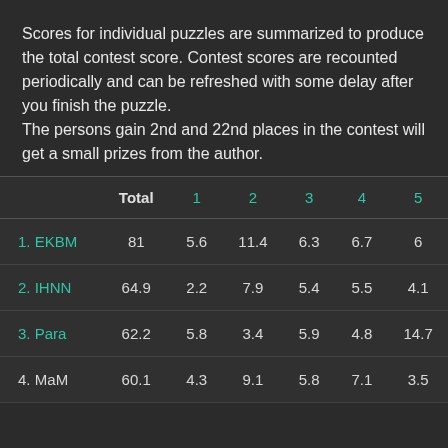Scores for individual puzzles are summarized to produce the total contest score. Contest scores are recounted periodically and can be refreshed with some delay after you finish the puzzle.
The persons gain 2nd and 22nd places in the contest will get a small prizes from the author.
|  | Total | 1 | 2 | 3 | 4 | 5 |
| --- | --- | --- | --- | --- | --- | --- |
| 1. EKBM | 81 | 5.6 | 11.4 | 6.3 | 6.7 | 6 |
| 2. IHNN | 64.9 | 2.2 | 7.9 | 5.4 | 5.5 | 4.1 |
| 3. Para | 62.2 | 5.8 | 3.4 | 5.9 | 4.8 | 14.7 |
| 4. MaM | 60.1 | 4.3 | 9.1 | 5.8 | 7.1 | 3.5 |